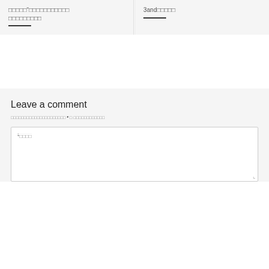□□□□□"□□□□□□□□□□□□ □□□□□□□□□
3and□□□□□
Leave a comment
□□□□□□□□□□□□□□□□□□□□□ * □ □□□□□□□□□□□□
*□□□□